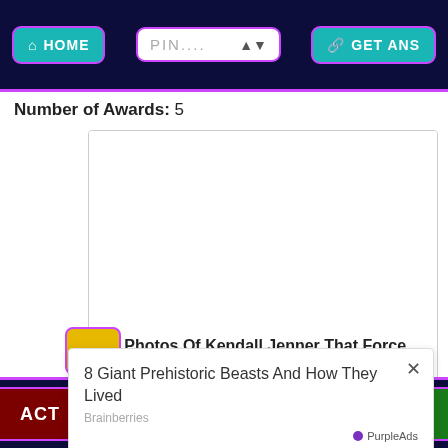HOME | PIN.... | GET ANS
Number of Awards: 5
[Figure (screenshot): Article card with blank image placeholder and title '20 Photos Of Kendall Jenner That Force You Love Her Even More' sourced from Brainberries]
20 Photos Of Kendall Jenner That Force You Love Her Even More
Brainberries
[Figure (screenshot): PurpleAds overlay popup showing '8 Giant Prehistoric Beasts And How They Lived' from Brainberries, with close X button and PurpleAds badge]
ACT | CHAT